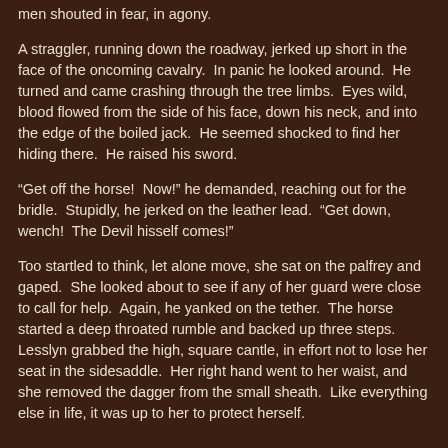men shouted in fear, in agony.
A straggler, running down the roadway, jerked up short in the face of the oncoming cavalry.  In panic he looked around.  He turned and came crashing through the tree limbs.  Eyes wild, blood flowed from the side of his face, down his neck, and into the edge of the boiled jack.  He seemed shocked to find her hiding there.  He raised his sword.
“Get off the horse!  Now!” he demanded, reaching out for the bridle.  Stupidly, he jerked on the leather lead.  "Get down, wench!  The Devil hisself comes!"
Too startled to think, let alone move, she sat on the palfrey and gaped.  She looked about to see if any of her guard were close to call for help.  Again, he yanked on the tether.  The horse started a deep throated rumble and backed up three steps.  Lesslyn grabbed the high, square cantle, in effort not to lose her seat in the sidesaddle.  Her right hand went to her waist, and she removed the dagger from the small sheath.  Like everything else in life, it was up to her to protect herself.